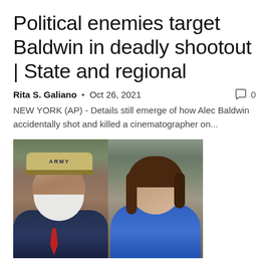Political enemies target Baldwin in deadly shootout | State and regional
Rita S. Galiano  •  Oct 26, 2021  🗨 0
NEW YORK (AP) - Details still emerge of how Alec Baldwin accidentally shot and killed a cinematographer on...
[Figure (photo): Composite photo of two people: on the left, an older man with white beard wearing an Army cap; on the right, a smiling woman with dark hair.]
Lieberman challenges Phelps in